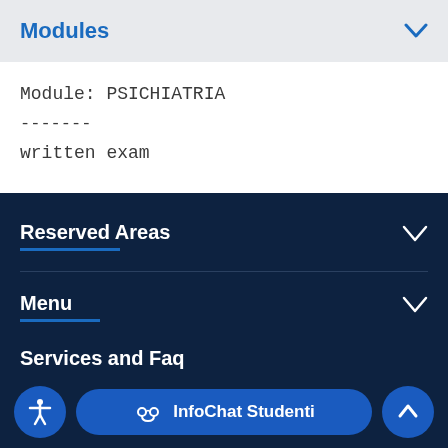Modules
Module: PSICHIATRIA
-------
written exam
Reserved Areas
Menu
Services and Faq
InfoChat Studenti